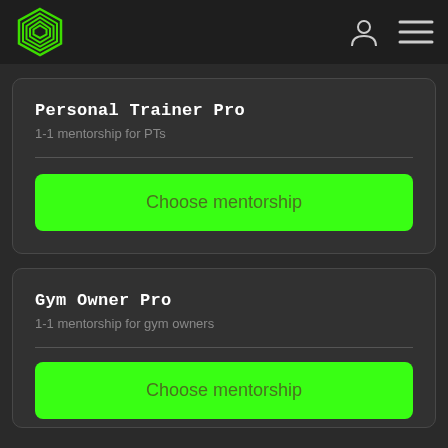[Figure (logo): Green hexagonal concentric lines logo icon]
[Figure (other): User account icon and hamburger menu icon in top right navigation]
Personal Trainer Pro
1-1 mentorship for PTs
Choose mentorship
Gym Owner Pro
1-1 mentorship for gym owners
Choose mentorship